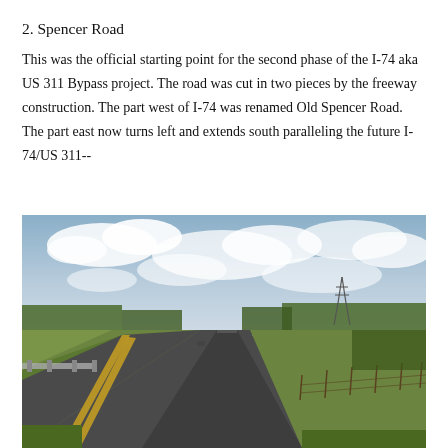2. Spencer Road
This was the official starting point for the second phase of the I-74 aka US 311 Bypass project. The road was cut in two pieces by the freeway construction. The part west of I-74 was renamed Old Spencer Road. The part east now turns left and extends south paralleling the future I-74/US 311--
[Figure (photo): Photograph of a two-lane highway with yellow center lines stretching into the distance, with trees on both sides and an overcast sky with clouds. Grass shoulders and a fence line visible on the right side.]